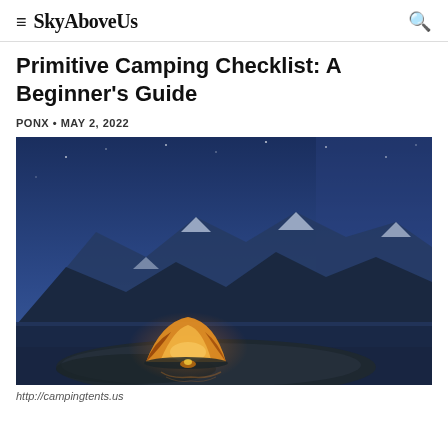SkyAboveUs
Primitive Camping Checklist: A Beginner's Guide
PONX • MAY 2, 2022
[Figure (photo): A glowing orange tent at dusk beside a mountain lake with snow-capped peaks in the background under a deep blue sky]
http://campingtents.us